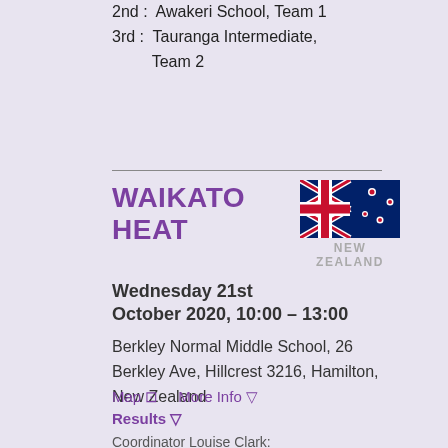2nd: Awakeri School, Team 1
3rd: Tauranga Intermediate, Team 2
WAIKATO HEAT
[Figure (illustration): New Zealand flag with text NEW ZEALAND below]
Wednesday 21st October 2020, 10:00 – 13:00
Berkley Normal Middle School, 26 Berkley Ave, Hillcrest 3216, Hamilton, New Zealand
Map ⊡    More Info ▽
Results ▽
Coordinator Louise Clark: kidslitquizwaikato@gmail.com
1st: Southwell School, Team 2